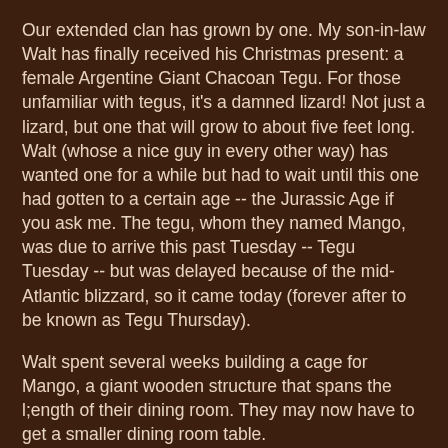Our extended clan has grown by one.  My son-in-law Walt has finally received his Christmas present:  a female Argentine Giant Chacoan Tegu.  For those unfamiliar with tegus, it's a damned lizard!  Not just a lizard, but one that will grow to about five feet long.  Walt (whose a nice guy in every other way) has wanted one for a while but had to wait until this one had gotten to a certain age -- the Jurassic Age if you ask me.  The tegu, whom they named Mango, was due to arrive this past Tuesday -- Tegu Tuesday -- but was delayed because of the mid-Atlantic blizzard, so it came today (forever after to be known as Tegu Thursday).
Walt spent several weeks building a cage for Mango, a giant wooden structure that spans the l;ength of their dining room.  They may now have to get a smaller dining room table.
When Mango arrived, Walt was beside himself with happiness.  She was still cold from the journey and was very docile when he picked her up.  Although just a young 'un, Mango is already larger than their bearded dragon, Messi.  Anyway, after warming up, Mango raised hersself up on all four legs, swelled her body, and started hissing loudly when